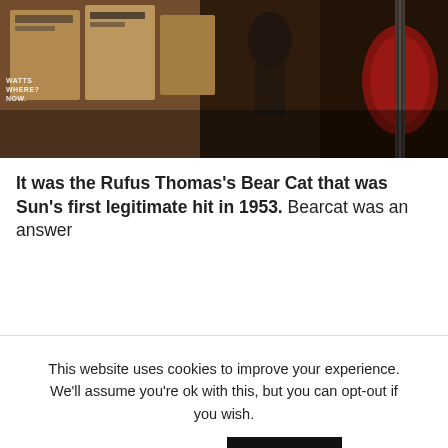[Figure (photo): Top strip photo showing guitars and music memorabilia on display, with a small watermark text reading WATTS WHERE? NOW. in the top-left corner]
It was the Rufus Thomas's Bear Cat that was Sun's first legitimate hit in 1953. Bearcat was an answer
[Figure (screenshot): Cookie consent banner overlay with text: This website uses cookies to improve your experience. We'll assume you're ok with this, but you can opt-out if you wish. With Cookie settings link and ACCEPT button.]
[Figure (photo): Bottom photo showing a black vinyl record on a turntable with white rim, with a white label visible in the center]